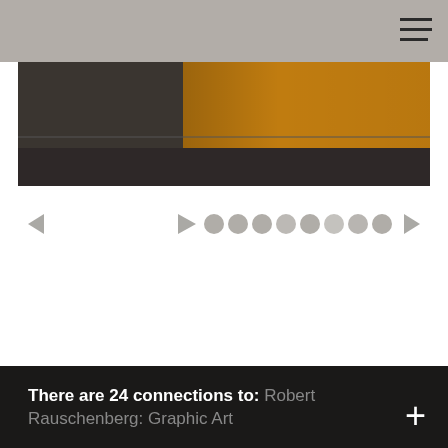[Figure (photo): Partial view of an art gallery or museum installation with a yellow/ochre wall panel and dark floor, photographed from a low angle. The image is cropped showing just the lower portion of the space.]
[Figure (infographic): Navigation UI element: left arrow, triangle/play icon, 8 circle dots (pagination indicators), and right arrow in gray color scheme on white background.]
There are 24 connections to: Robert Rauschenberg: Graphic Art